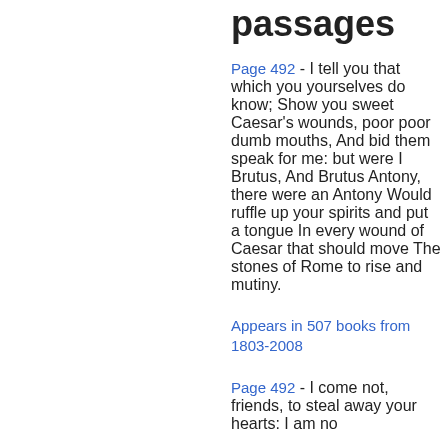passages
Page 492 - I tell you that which you yourselves do know; Show you sweet Caesar's wounds, poor poor dumb mouths, And bid them speak for me: but were I Brutus, And Brutus Antony, there were an Antony Would ruffle up your spirits and put a tongue In every wound of Caesar that should move The stones of Rome to rise and mutiny.
Appears in 507 books from 1803-2008
Page 492 - I come not, friends, to steal away your hearts: I am no